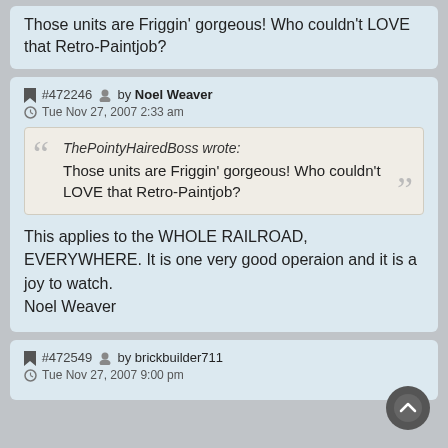Those units are Friggin' gorgeous! Who couldn't LOVE that Retro-Paintjob?
#472246 by Noel Weaver
Tue Nov 27, 2007 2:33 am
ThePointyHairedBoss wrote:
Those units are Friggin' gorgeous! Who couldn't LOVE that Retro-Paintjob?
This applies to the WHOLE RAILROAD, EVERYWHERE. It is one very good operaion and it is a joy to watch.
Noel Weaver
#472549 by brickbuilder711
Tue Nov 27, 2007 9:00 pm